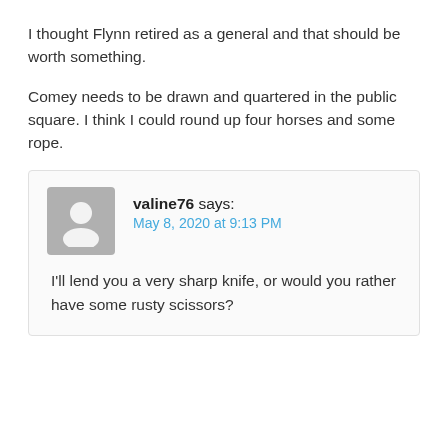I thought Flynn retired as a general and that should be worth something.
Comey needs to be drawn and quartered in the public square. I think I could round up four horses and some rope.
valine76 says: May 8, 2020 at 9:13 PM — I'll lend you a very sharp knife, or would you rather have some rusty scissors?